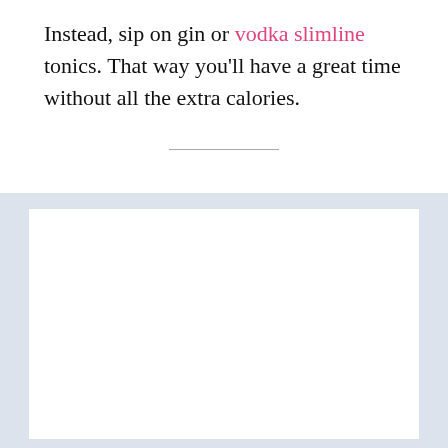Instead, sip on gin or vodka slimline tonics. That way you'll have a great time without all the extra calories.
[Figure (other): A horizontal divider line followed by a large white rectangle on a light blue-grey background, representing an embedded content area (e.g. image or video placeholder).]